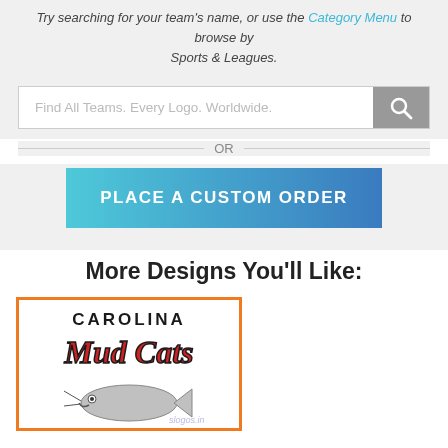Try searching for your team's name, or use the Category Menu to browse by Sports & Leagues.
[Figure (screenshot): Search bar with placeholder text 'Find All Teams. Every Logo. Worldwide.' and a search button with magnifying glass icon]
OR
[Figure (screenshot): Teal-to-blue gradient button with text 'PLACE A CUSTOM ORDER']
More Designs You'll Like:
[Figure (logo): Carolina Mud Cats baseball team logo with text CAROLINA MUDCATS in red and black with a catfish illustration, displayed inside an orange-bordered card. Watermark reads 'slogos.in']